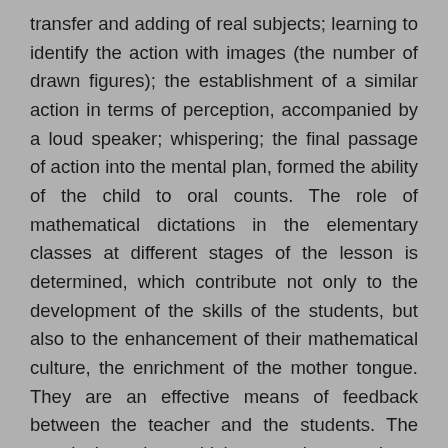transfer and adding of real subjects; learning to identify the action with images (the number of drawn figures); the establishment of a similar action in terms of perception, accompanied by a loud speaker; whispering; the final passage of action into the mental plan, formed the ability of the child to oral counts. The role of mathematical dictations in the elementary classes at different stages of the lesson is determined, which contribute not only to the development of the skills of the students, but also to the enhancement of their mathematical culture, the enrichment of the mother tongue. They are an effective means of feedback between the teacher and the students. The practical tasks, which can be used at mathematics lessons in elementary school with the purpose of development of computing skills of pupils are given. It is concluded that it is necessary to choose such ways of organizing the computing activity of junior pupils, which will promote not only the formation of strong conscious computational skills